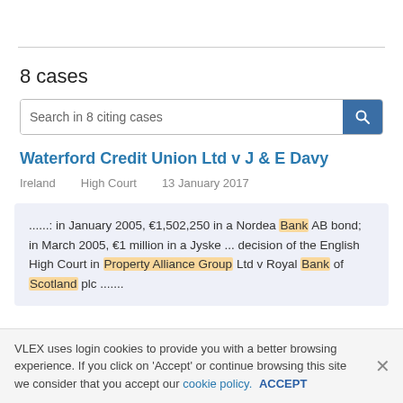8 cases
Search in 8 citing cases
Waterford Credit Union Ltd v J & E Davy
Ireland   High Court   13 January 2017
......: in January 2005, €1,502,250 in a Nordea Bank AB bond; in March 2005, €1 million in a Jyske ... decision of the English High Court in Property Alliance Group Ltd v Royal Bank of Scotland plc .......
VLEX uses login cookies to provide you with a better browsing experience. If you click on 'Accept' or continue browsing this site we consider that you accept our cookie policy. ACCEPT